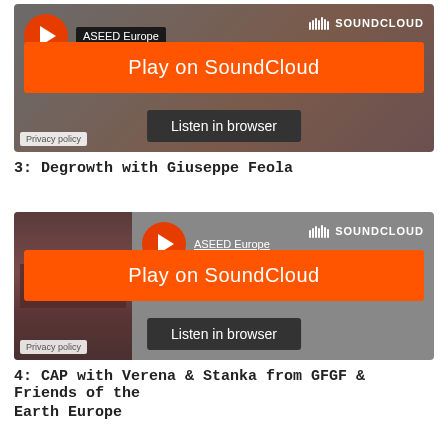[Figure (screenshot): SoundCloud embedded player widget showing ASEED Europe channel with orange 'Play on SoundCloud' button and dark 'Listen in browser' button, on a dark brownish-grey gradient background]
3: Degrowth with Giuseppe Feola
[Figure (screenshot): SoundCloud embedded player widget showing ASEED Europe channel with orange 'Play on SoundCloud' button and dark 'Listen in browser' button, on a grey background with a brownish-red thumbnail image on the left]
4: CAP with Verena & Stanka from GFGF & Friends of the Earth Europe